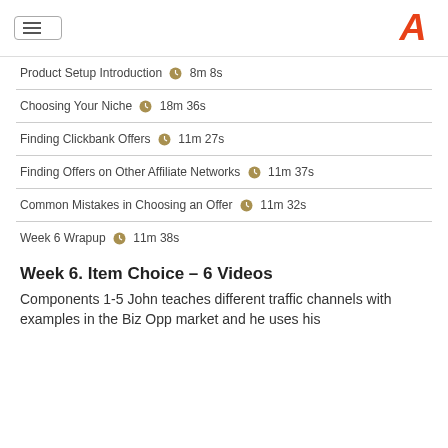Product Setup Introduction  8m 8s
Choosing Your Niche  18m 36s
Finding Clickbank Offers  11m 27s
Finding Offers on Other Affiliate Networks  11m 37s
Common Mistakes in Choosing an Offer  11m 32s
Week 6 Wrapup  11m 38s
Week 6. Item Choice – 6 Videos
Components 1-5 John teaches different traffic channels with examples in the Biz Opp market and he uses his